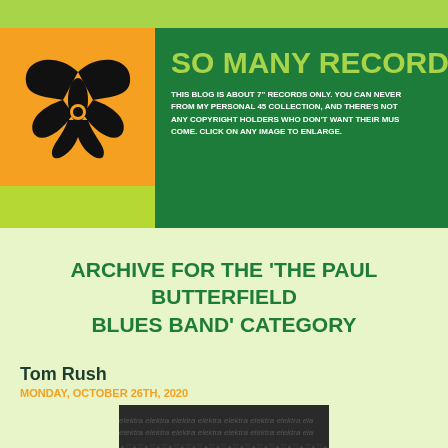[Figure (logo): So Many Records blog logo: black Elektra-style butterfly/record symbol on orange background]
SO MANY RECORDS
THIS BLOG IS ABOUT 7" RECORDS ONLY. YOU CAN NEVER FROM MY PERSONAL 45 COLLECTION, AND THERE'S NOT ANY COPYRIGHT HOLDERS WHO DON'T WANT THEIR MUS COME. CLICK ON ANY IMAGE TO ENLARGE.
ARCHIVE FOR THE 'THE PAUL BUTTERFIELD BLUES BAND' CATEGORY
Tom Rush
MONDAY, OCTOBER 26TH, 2020
[Figure (photo): Elektra Records label with repeating pattern]